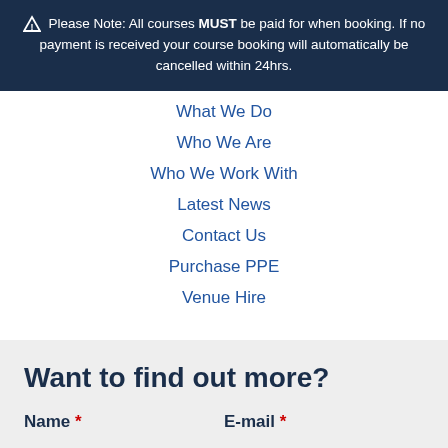⚠ Please Note: All courses MUST be paid for when booking. If no payment is received your course booking will automatically be cancelled within 24hrs.
What We Do
Who We Are
Who We Work With
Latest News
Contact Us
Purchase PPE
Venue Hire
Want to find out more?
Name * E-mail *